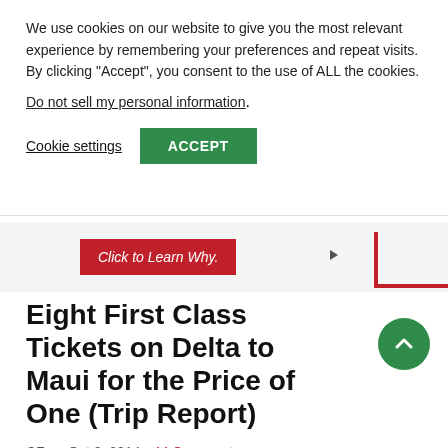We use cookies on our website to give you the most relevant experience by remembering your preferences and repeat visits. By clicking “Accept”, you consent to the use of ALL the cookies.
Do not sell my personal information.
Cookie settings   ACCEPT
[Figure (other): Red banner ad with text 'Click to Learn Why.' and a red bracket graphic on the right side]
Eight First Class Tickets on Delta to Maui for the Price of One (Trip Report)
CF on Oct 2, 2014 - 44 Comments
Delta, Trip Reports